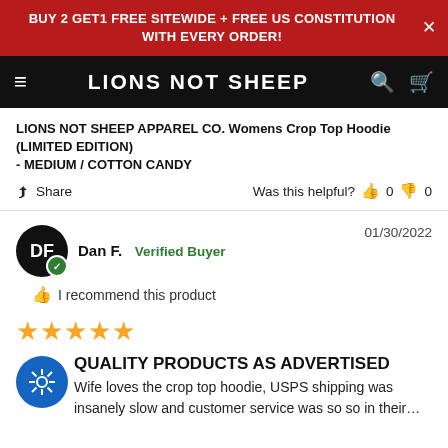BUY 2 GET1 FREE SITEWIDE + FREE US CONSTITUTION WITH EVERY ORDER!
LIONS NOT SHEEP
LIONS NOT SHEEP APPAREL CO. Womens Crop Top Hoodie (LIMITED EDITION)
- MEDIUM / COTTON CANDY
Share   Was this helpful? 0  0
Dan F.  Verified Buyer   01/30/2022
I recommend this product
★★★★★
QUALITY PRODUCTS AS ADVERTISED
Wife loves the crop top hoodie, USPS shipping was insanely slow and customer service was so so in their…